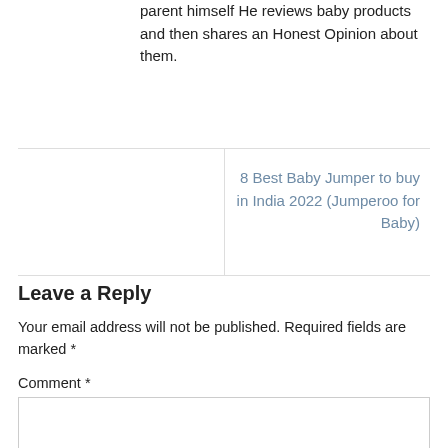parent himself He reviews baby products and then shares an Honest Opinion about them.
8 Best Baby Jumper to buy in India 2022 (Jumperoo for Baby)
Leave a Reply
Your email address will not be published. Required fields are marked *
Comment *